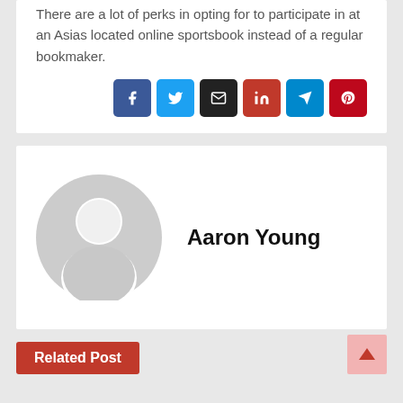There are a lot of perks in opting for to participate in at an Asias located online sportsbook instead of a regular bookmaker.
[Figure (infographic): Social share buttons: Facebook (blue), Twitter (light blue), Email (black), LinkedIn (red), Telegram (blue), Pinterest (dark red)]
[Figure (photo): Default avatar placeholder image - grey circle with silhouette of a person]
Aaron Young
Related Post